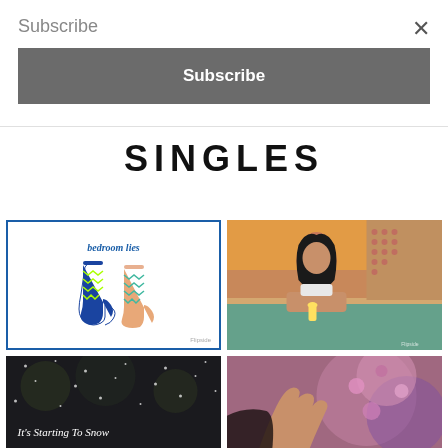Subscribe
×
Subscribe
SINGLES
[Figure (illustration): Album cover for 'bedroom lies' showing two colorful zigzag-patterned socks — one blue with neon green pattern and one peach/pink with blue-green pattern — on a white background with a blue border]
[Figure (photo): Photo of a young woman with long dark hair wearing a white bikini top, lying by a swimming pool at golden hour, holding a yellow drink]
[Figure (photo): Dark moody photo with snow particles in the air, text overlay reads 'It's Starting To Snow' in white italic script]
[Figure (photo): Photo of a woman with black hair near pink/purple flowers, hand raised, partial view]